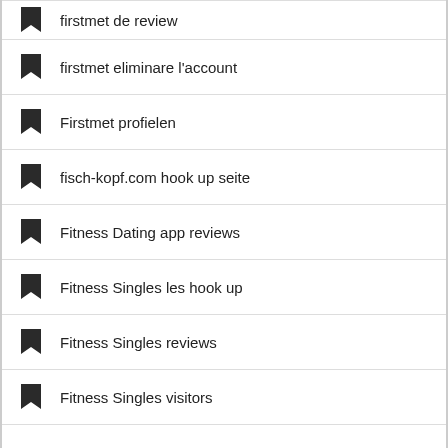firstmet de review
firstmet eliminare l'account
Firstmet profielen
fisch-kopf.com hook up seite
Fitness Dating app reviews
Fitness Singles les hook up
Fitness Singles reviews
Fitness Singles visitors